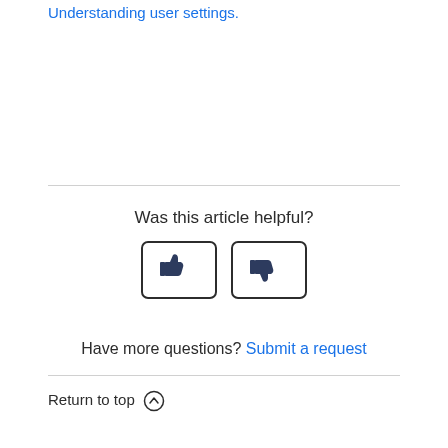Understanding user settings.
Was this article helpful?
[Figure (other): Two feedback buttons: thumbs up and thumbs down icons in bordered rounded-square buttons]
Have more questions? Submit a request
Return to top ↑